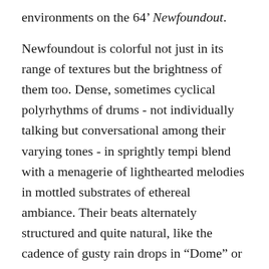environments on the 64' Newfoundout.
Newfoundout is colorful not just in its range of textures but the brightness of them too. Dense, sometimes cyclical polyrhythms of drums - not individually talking but conversational among their varying tones - in sprightly tempi blend with a menagerie of lighthearted melodies in mottled substrates of ethereal ambiance. Their beats alternately structured and quite natural, like the cadence of gusty rain drops in “Dome” or the stumbling bass arrhythmia of “Vroomanton.” Its forms feel progressive, at times linearly additive, at others collaged such as “Silver Centre,” and sometimes alternating between two motifs building in parallel like in “Dome.” While movement is most often frolicsome, the total pace is ambling. And while there are a couple abrasive or ominous moments, they are more often